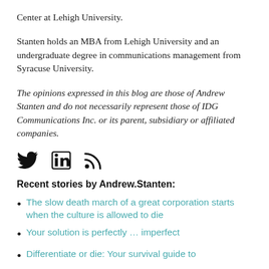Center at Lehigh University.
Stanten holds an MBA from Lehigh University and an undergraduate degree in communications management from Syracuse University.
The opinions expressed in this blog are those of Andrew Stanten and do not necessarily represent those of IDG Communications Inc. or its parent, subsidiary or affiliated companies.
[Figure (infographic): Social media icons: Twitter bird, LinkedIn square, RSS feed symbol]
Recent stories by Andrew.Stanten:
The slow death march of a great corporation starts when the culture is allowed to die
Your solution is perfectly … imperfect
Differentiate or die: Your survival guide to